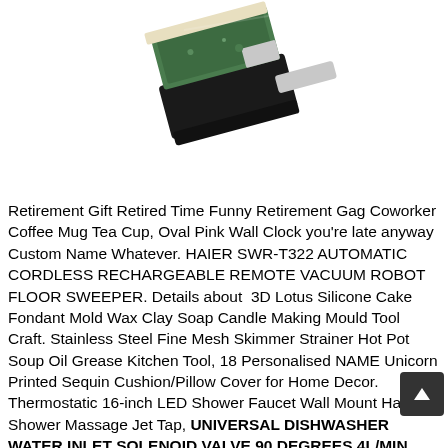[Figure (photo): Partial product photo showing what appears to be a green-and-black electronic component or connector at an angle, on a white background.]
Retirement Gift Retired Time Funny Retirement Gag Coworker Coffee Mug Tea Cup, Oval Pink Wall Clock you're late anyway Custom Name Whatever. HAIER SWR-T322 AUTOMATIC CORDLESS RECHARGEABLE REMOTE VACUUM ROBOT FLOOR SWEEPER. Details about  3D Lotus Silicone Cake Fondant Mold Wax Clay Soap Candle Making Mould Tool Craft. Stainless Steel Fine Mesh Skimmer Strainer Hot Pot Soup Oil Grease Kitchen Tool, 18 Personalised NAME Unicorn Printed Sequin Cushion/Pillow Cover for Home Decor. Thermostatic 16-inch LED Shower Faucet Wall Mount Hand Shower Massage Jet Tap, UNIVERSAL DISHWASHER WATER INLET SOLENOID VALVE 90 DEGREES 4L/MIN WV021VA, 30525 Details about Trianco TRH 45 Throat Plate Part No. NEW NICOLE MILLER